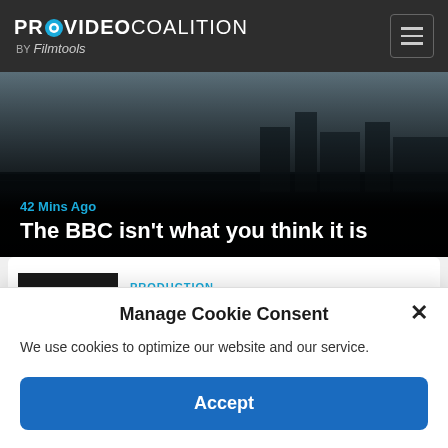PROVIDEO COALITION BY Filmtools
[Figure (photo): Hero image with dark city/water background showing article '42 Mins Ago - The BBC isn't what you think it is']
42 Mins Ago
The BBC isn't what you think it is
PRODUCTION
RED DIGITAL CINEMA launches new V-RAPTOR...
[Figure (photo): Image of RED Digital Cinema V-RAPTOR camera]
PRODUCTION
[Figure (photo): Image of a monitor/recorder device with cables]
Manage Cookie Consent
We use cookies to optimize our website and our service.
Accept